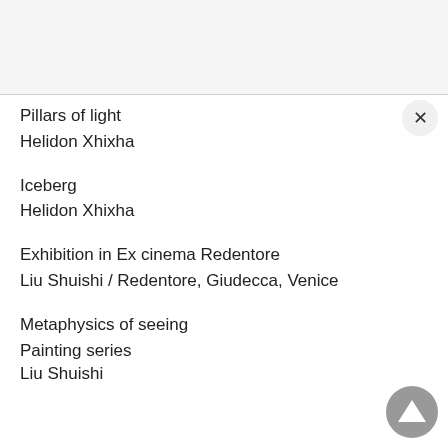Pillars of light
Helidon Xhixha
Iceberg
Helidon Xhixha
Exhibition in Ex cinema Redentore
Liu Shuishi / Redentore, Giudecca, Venice
Metaphysics of seeing
Painting series
Liu Shuishi